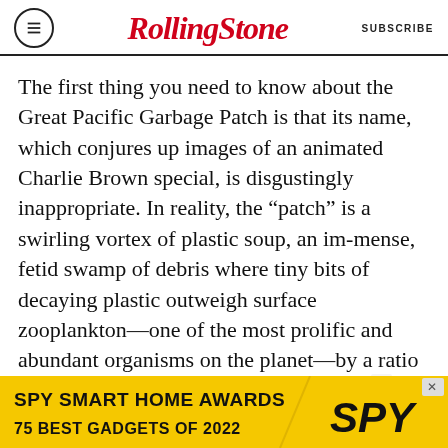RollingStone | SUBSCRIBE
The first thing you need to know about the Great Pacific Garbage Patch is that its name, which conjures up images of an animated Charlie Brown special, is disgustingly inappropriate. In reality, the “patch” is a swirling vortex of plastic soup, an immense, fetid swamp of debris where tiny bits of decaying plastic outweigh surface zooplankton—one of the most prolific and abundant organisms on the planet—by a ratio of six-to-one. Nobotly knows its exact size or if it has any boundaries at all: Its location and shape vary depending on factors such as water temperature, season and major weather events like El Niño. Scientists estimate it is twice the size of Texas—maybe
[Figure (infographic): SPY Smart Home Awards advertisement banner: yellow background with bold black text 'SPY SMART HOME AWARDS / 75 BEST GADGETS OF 2022' and SPY logo in italic]